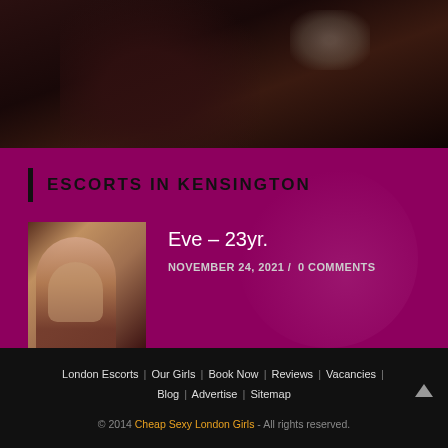[Figure (photo): Dark background photo showing a partial silhouette of a person, mostly dark reddish-brown tones]
ESCORTS IN KENSINGTON
[Figure (photo): Thumbnail photo of a woman posed in lingerie against a warm-toned background]
Eve – 23yr.
NOVEMBER 24, 2021 /  0 COMMENTS
London Escorts | Our Girls | Book Now | Reviews | Vacancies | Blog | Advertise | Sitemap
© 2014 Cheap Sexy London Girls - All rights reserved.